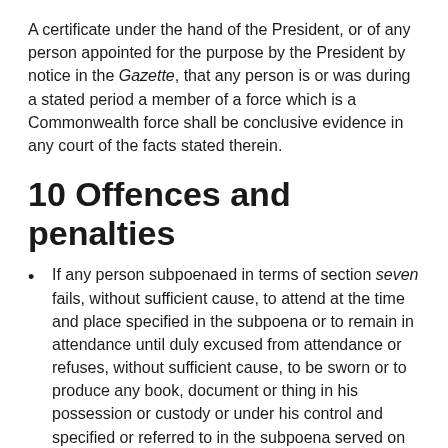A certificate under the hand of the President, or of any person appointed for the purpose by the President by notice in the Gazette, that any person is or was during a stated period a member of a force which is a Commonwealth force shall be conclusive evidence in any court of the facts stated therein.
10 Offences and penalties
If any person subpoenaed in terms of section seven fails, without sufficient cause, to attend at the time and place specified in the subpoena or to remain in attendance until duly excused from attendance or refuses, without sufficient cause, to be sworn or to produce any book, document or thing in his possession or custody or under his control and specified or referred to in the subpoena served on him, he shall be guilty of an offence and liable to a fine not exceeding level five or to imprisonment for a period not exceeding six